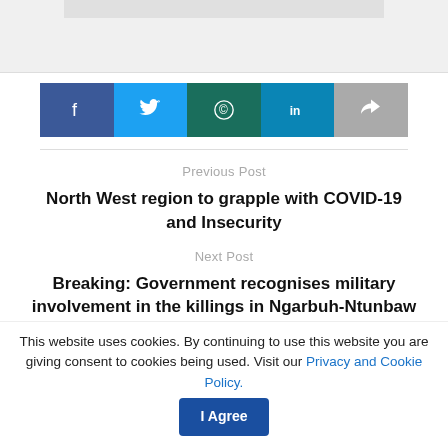[Figure (other): Gray banner/header bar at top of page]
[Figure (other): Social sharing buttons row: Facebook (blue), Twitter (light blue), WhatsApp (dark teal), LinkedIn (blue), Share (gray)]
Previous Post
North West region to grapple with COVID-19 and Insecurity
Next Post
Breaking: Government recognises military involvement in the killings in Ngarbuh-Ntunbaw killings, announces arrest of soldiers
This website uses cookies. By continuing to use this website you are giving consent to cookies being used. Visit our Privacy and Cookie Policy.